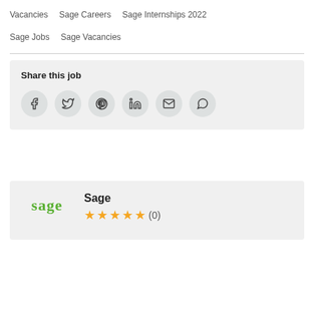Vacancies
Sage Careers
Sage Internships 2022
Sage Jobs
Sage Vacancies
Share this job
[Figure (infographic): Social share icons: Facebook, Twitter, Pinterest, LinkedIn, Email, WhatsApp]
Sage
[Figure (infographic): Sage company logo with green text and star rating: 4.5 stars (0) reviews]